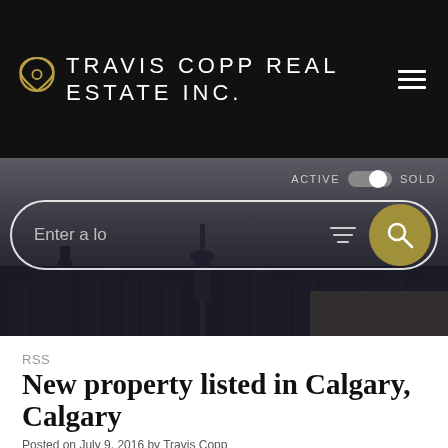TRAVIS COPP REAL ESTATE INC.
[Figure (screenshot): Hero image showing Calgary city skyline at dusk/night with a search bar overlay. Toggle switch between ACTIVE and SOLD at top right. Search input placeholder text 'Enter a lo' with filter icon and gold search button.]
RSS
New property listed in Calgary, Calgary
Posted on July 9, 2016 by Travis Copp
Posted in: Calgary, Calgary Real Estate
[Figure (other): Social share buttons: Twitter, Facebook, Pinterest]